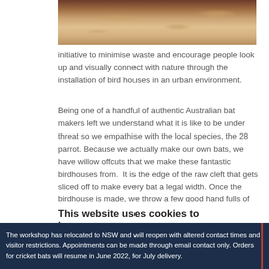[Figure (photo): Photograph of wood shavings, shells and materials on a surface, partially visible at top of page]
initiative to minimise waste and encourage people look up and visually connect with nature through the installation of bird houses in an urban environment.
Being one of a handful of authentic Australian bat makers left we understand what it is like to be under threat so we empathise with the local species, the 28 parrot. Because we actually make our own bats, we have willow offcuts that we make these fantastic birdhouses from.  It is the edge of the raw cleft that gets sliced off to make every bat a legal width. Once the birdhouse is made, we throw a few good hand fulls of shavings, a by-product from using the [text continues]... p chickens help [text continues]... ow much the
This website uses cookies to improve your experience
The workshop has relocated to NSW and will reopen with altered contact times and visitor restrictions. Appointments can be made through email contact only. Orders for cricket bats will resume in June 2022, for July delivery.